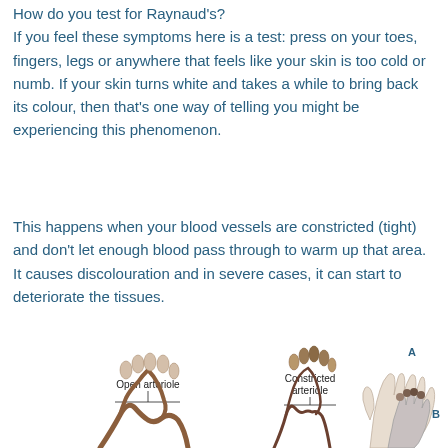How do you test for Raynaud's? If you feel these symptoms here is a test: press on your toes, fingers, legs or anywhere that feels like your skin is too cold or numb. If your skin turns white and takes a while to bring back its colour, then that's one way of telling you might be experiencing this phenomenon.
This happens when your blood vessels are constricted (tight) and don't let enough blood pass through to warm up that area.  It causes discolouration and in severe cases, it can start to deteriorate the tissues.
[Figure (illustration): Medical illustration showing a comparison of an open arteriole versus a constricted arteriole, alongside two hand diagrams labeled A and B showing the effect of Raynaud's phenomenon on blood flow to fingers.]